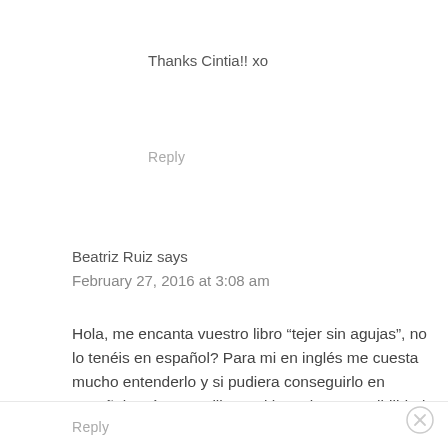Thanks Cintia!! xo
Reply
Beatriz Ruiz says
February 27, 2016 at 3:08 am
Hola, me encanta vuestro libro “tejer sin agujas”, no lo tenéis en español? Para mi en inglés me cuesta mucho entenderlo y si pudiera conseguirlo en español sería maravilloso, si hay alguna posibilidad por favor decírmelo. Muchas gracias
Reply